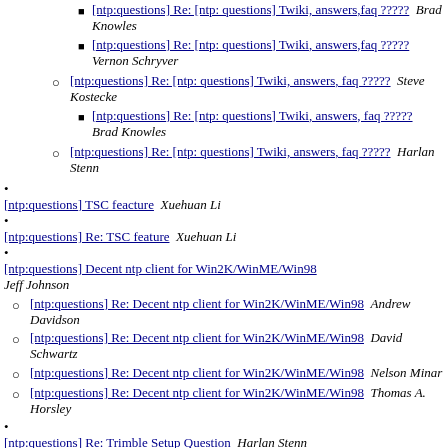[ntp:questions] Re: [ntp: questions] Twiki, answers,faq ?????  Vernon Schryver
[ntp:questions] Re: [ntp: questions] Twiki, answers, faq ?????  Steve Kostecke
[ntp:questions] Re: [ntp: questions] Twiki, answers, faq ?????  Brad Knowles
[ntp:questions] Re: [ntp: questions] Twiki, answers, faq ?????  Harlan Stenn
[ntp:questions] TSC feacture  Xuehuan Li
[ntp:questions] Re: TSC feature  Xuehuan Li
[ntp:questions] Decent ntp client for Win2K/WinME/Win98  Jeff Johnson
[ntp:questions] Re: Decent ntp client for Win2K/WinME/Win98  Andrew Davidson
[ntp:questions] Re: Decent ntp client for Win2K/WinME/Win98  David Schwartz
[ntp:questions] Re: Decent ntp client for Win2K/WinME/Win98  Nelson Minar
[ntp:questions] Re: Decent ntp client for Win2K/WinME/Win98  Thomas A. Horsley
[ntp:questions] Re: Trimble Setup Question  Harlan Stenn
[ntp:questions] Re: Trimble Setup Question  M.C. van den Bovenkamp
[ntp:questions] Re: Trimble Setup Question  Vernon Schryver